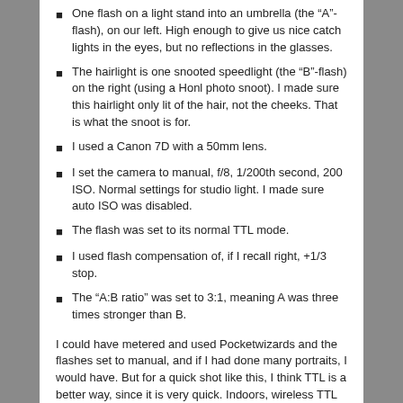One flash on a light stand into an umbrella (the “A”-flash), on our left. High enough to give us nice catch lights in the eyes, but no reflections in the glasses.
The hairlight is one snooted speedlight (the “B”-flash) on the right (using a Honl photo snoot). I made sure this hairlight only lit of the hair, not the cheeks. That is what the snoot is for.
I used a Canon 7D with a 50mm lens.
I set the camera to manual, f/8, 1/200th second, 200 ISO. Normal settings for studio light. I made sure auto ISO was disabled.
The flash was set to its normal TTL mode.
I used flash compensation of, if I recall right, +1/3 stop.
The “A:B ratio” was set to 3:1, meaning A was three times stronger than B.
I could have metered and used Pocketwizards and the flashes set to manual, and if I had done many portraits, I would have. But for a quick shot like this, I think TTL is a better way, since it is very quick. Indoors, wireless TTL is a no brainer, and it works; the on-camera flash, which is